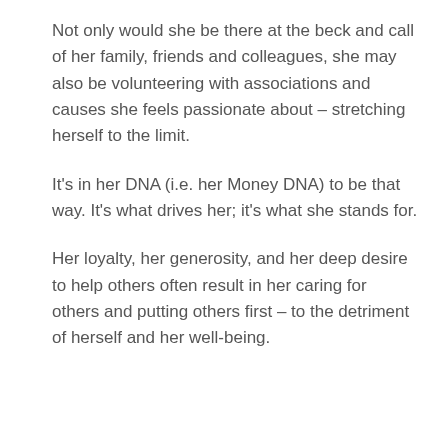Not only would she be there at the beck and call of her family, friends and colleagues, she may also be volunteering with associations and causes she feels passionate about – stretching herself to the limit.
It's in her DNA (i.e. her Money DNA) to be that way. It's what drives her; it's what she stands for.
Her loyalty, her generosity, and her deep desire to help others often result in her caring for others and putting others first – to the detriment of herself and her well-being.